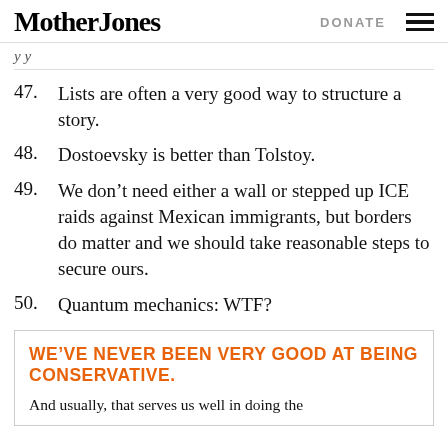Mother Jones | DONATE
y y
47. Lists are often a very good way to structure a story.
48. Dostoevsky is better than Tolstoy.
49. We don't need either a wall or stepped up ICE raids against Mexican immigrants, but borders do matter and we should take reasonable steps to secure ours.
50. Quantum mechanics: WTF?
WE'VE NEVER BEEN VERY GOOD AT BEING CONSERVATIVE.
And usually, that serves us well in doing the